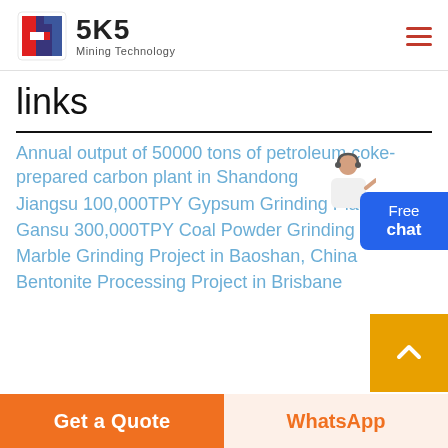[Figure (logo): SKS Mining Technology logo with red and blue geometric icon and company name]
links
Annual output of 50000 tons of petroleum coke-prepared carbon plant in Shandong
Jiangsu 100,000TPY Gypsum Grinding Plant
Gansu 300,000TPY Coal Powder Grinding Plant
Marble Grinding Project in Baoshan, China
Bentonite Processing Project in Brisbane